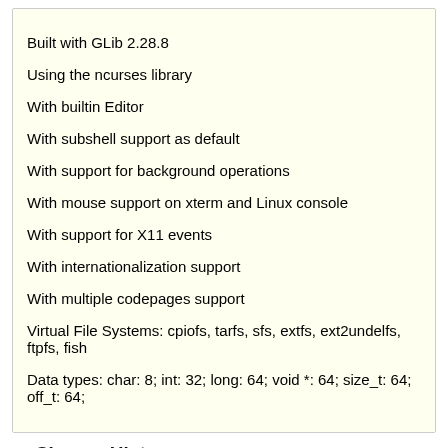Built with GLib 2.28.8
Using the ncurses library
With builtin Editor
With subshell support as default
With support for background operations
With mouse support on xterm and Linux console
With support for X11 events
With internationalization support
With multiple codepages support
Virtual File Systems: cpiofs, tarfs, sfs, extfs, ext2undelfs, ftpfs, fish
Data types: char: 8; int: 32; long: 64; void *: 64; size_t: 64; off_t: 64;
Change History
Changed 11 years ago by slavazanko
comment:1
Well, we have fixed initialization order of some subsystems:
#2601
Try to update to latest version and check if issue present, please.
Changed 11 years ago by c0da
comment:2
i admit, this is cheating:
$git diff  src/filemanager/midnight.c
diff --git a/src/filemanager/midnight.c b/